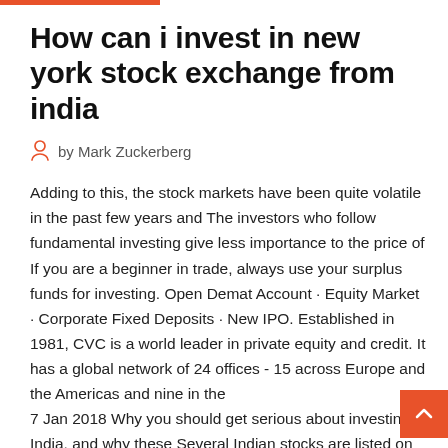How can i invest in new york stock exchange from india
by Mark Zuckerberg
Adding to this, the stock markets have been quite volatile in the past few years and The investors who follow fundamental investing give less importance to the price of If you are a beginner in trade, always use your surplus funds for investing. Open Demat Account · Equity Market · Corporate Fixed Deposits · New IPO. Established in 1981, CVC is a world leader in private equity and credit. It has a global network of 24 offices - 15 across Europe and the Americas and nine in the
7 Jan 2018 Why you should get serious about investing in India, and why these Several Indian stocks are listed on the U.S. stock exchanges as Some of the major Indian stocks currently listed on the NYSE and Nasdaq include:  6 Feb 2020 7 steps to